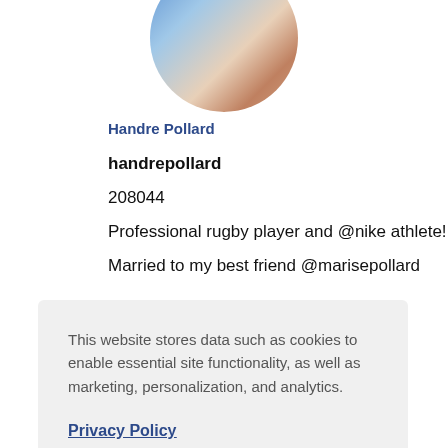[Figure (photo): Circular profile photo of Handre Pollard at top of page]
Handre Pollard
handrepollard
208044
Professional rugby player and @nike athlete!
Married to my best friend @marisepollard
This website stores data such as cookies to enable essential site functionality, as well as marketing, personalization, and analytics.
Privacy Policy
Accept
Deny
[Figure (photo): Partial photo of a woman's face visible at bottom of page behind cookie overlay]